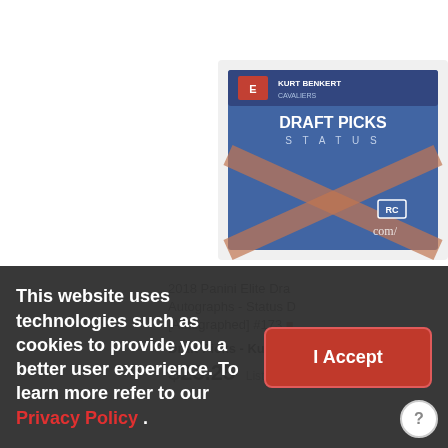[Figure (photo): 2018 Panini Elite Draft Picks Status trading card for Kurt Benkert (Cavaliers), showing 'DRAFT PICKS STATUS' text with an RC badge and autograph signature, card in protective sleeve]
2018 Panini Elite Draft Picks Autographs - Status Die Cut [Autographed] #173
Draft Picks - Kurt B
$23.25 List
This website uses technologies such as cookies to provide you a better user experience. To learn more refer to our Privacy Policy .